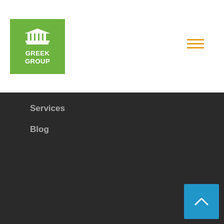[Figure (logo): Greek Group logo — green square with white columns/building icon and text GREEK GROUP]
[Figure (other): Hamburger menu icon with three orange horizontal lines]
Services
Blog
University
Vienna Conservatory, Budapest, Hungary
Academy Of Tourism, Antalya, Turkey
Aurel Vlaiku University Of Arad, Romania
[Figure (illustration): Orange rounded rectangle badge with white graduation cap icon]
[Figure (other): Blue square button with white upward chevron/arrow]